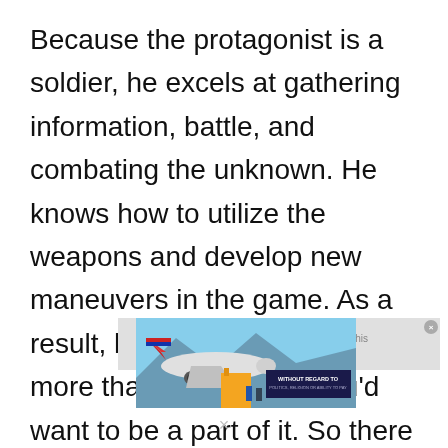Because the protagonist is a soldier, he excels at gathering information, battle, and combating the unknown. He knows how to utilize the weapons and develop new maneuvers in the game. As a result, his adventure will be more than typical, and you'd want to be a part of it. So there will be some
[Figure (photo): Advertisement overlay showing an airplane being loaded with cargo, with a dark blue banner reading 'WITHOUT REGARD TO' and smaller text below. A light gray overlay with 'No compatible source was found for this media' text appears over part of the content.]